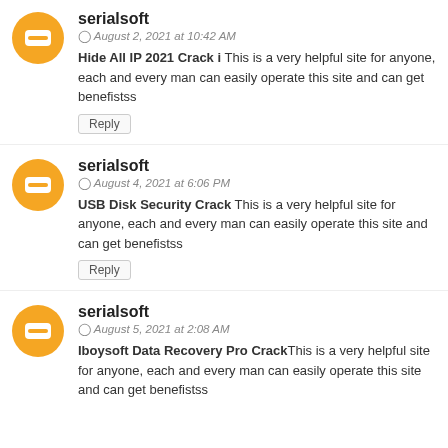serialsoft
August 2, 2021 at 10:42 AM
Hide All IP 2021 Crack i This is a very helpful site for anyone, each and every man can easily operate this site and can get benefistss
Reply
serialsoft
August 4, 2021 at 6:06 PM
USB Disk Security Crack This is a very helpful site for anyone, each and every man can easily operate this site and can get benefistss
Reply
serialsoft
August 5, 2021 at 2:08 AM
Iboysoft Data Recovery Pro CrackThis is a very helpful site for anyone, each and every man can easily operate this site and can get benefistss